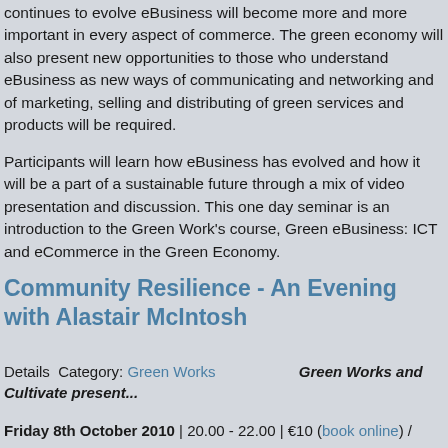continues to evolve eBusiness will become more and more important in every aspect of commerce. The green economy will also present new opportunities to those who understand eBusiness as new ways of communicating and networking and of marketing, selling and distributing of green services and products will be required.

Participants will learn how eBusiness has evolved and how it will be a part of a sustainable future through a mix of video presentation and discussion. This one day seminar is an introduction to the Green Work's course, Green eBusiness: ICT and eCommerce in the Green Economy.
Community Resilience - An Evening with Alastair McIntosh
Details  Category: Green Works    Green Works and Cultivate present...
Friday 8th October 2010 | 20.00 - 22.00 | €10 (book online) /